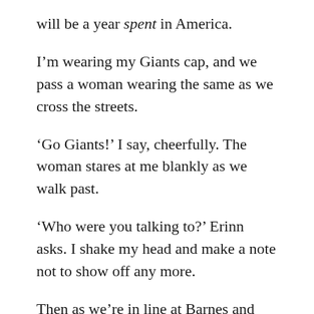will be a year spent in America.
I’m wearing my Giants cap, and we pass a woman wearing the same as we cross the streets.
‘Go Giants!’ I say, cheerfully. The woman stares at me blankly as we walk past.
‘Who were you talking to?’ Erinn asks. I shake my head and make a note not to show off any more.
Then as we’re in line at Barnes and Noble, where I’ve found a planner I like, I see a guy wearing a Giants cap two places ahead at the